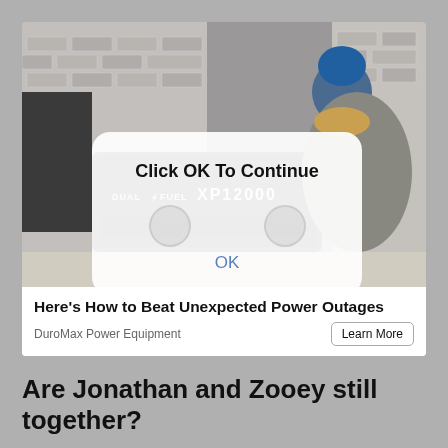[Figure (screenshot): Advertisement showing a woman operating a DuroMax Dual Fuel XP12000HX generator outdoors near a brick wall, with a modal dialog overlay reading 'Click OK To Continue' and an 'OK' button]
Here's How to Beat Unexpected Power Outages
DuroMax Power Equipment
Learn More
Are Jonathan and Zooey still together?